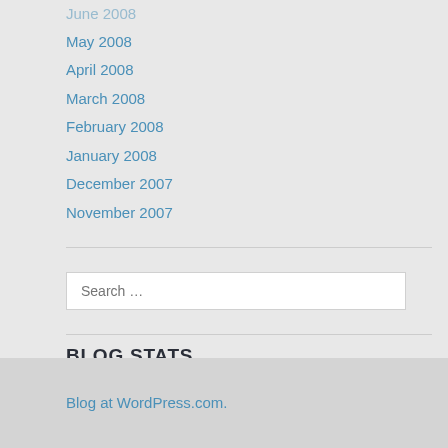June 2008
May 2008
April 2008
March 2008
February 2008
January 2008
December 2007
November 2007
Search ...
BLOG STATS
82,816 hits
Blog at WordPress.com.